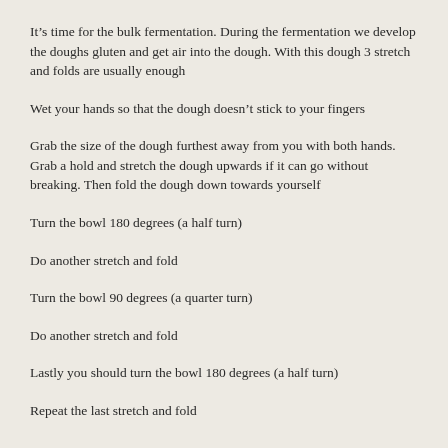It's time for the bulk fermentation. During the fermentation we develop the doughs gluten and get air into the dough. With this dough 3 stretch and folds are usually enough
Wet your hands so that the dough doesn't stick to your fingers
Grab the size of the dough furthest away from you with both hands. Grab a hold and stretch the dough upwards if it can go without breaking. Then fold the dough down towards yourself
Turn the bowl 180 degrees (a half turn)
Do another stretch and fold
Turn the bowl 90 degrees (a quarter turn)
Do another stretch and fold
Lastly you should turn the bowl 180 degrees (a half turn)
Repeat the last stretch and fold